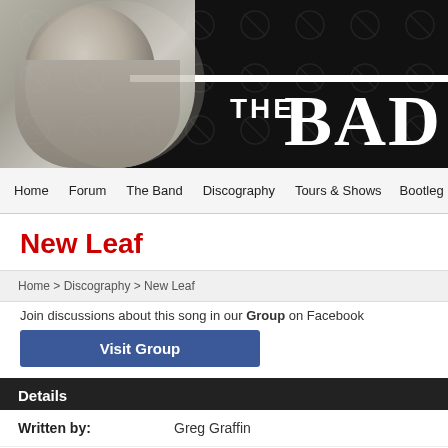[Figure (screenshot): Website banner for 'The Bad' with a classical marble sculpture head on the left and large white bold text 'THE BAD' on the right, on a dark background with repeated circular logo watermarks.]
Home   Forum   The Band   Discography   Tours & Shows   Bootleg
New Leaf
Home > Discography > New Leaf
Join discussions about this song in our Group on Facebook
Visit Group
Details
| Written by: | Greg Graffin |
| Released in: | 1984 |
| BPM: | 88 |